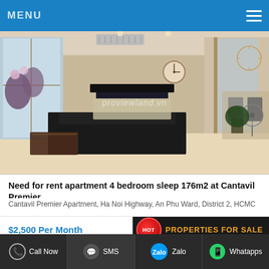MENU
[Figure (photo): Interior photo of a large modern apartment living room with black leather sofa, TV, floor-to-ceiling windows, plants, and clocks on the wall. Watermark text: proviewland.vn]
Need for rent apartment 4 bedroom sleep 176m2 at Cantavil Premier
Cantavil Premier Apartment, Ha Noi Highway, An Phu Ward, District 2, HCMC
$2,500 Per Month
HOT  PROPERTIES FOR SALE
Call Now   SMS   Zalo   Whatapps